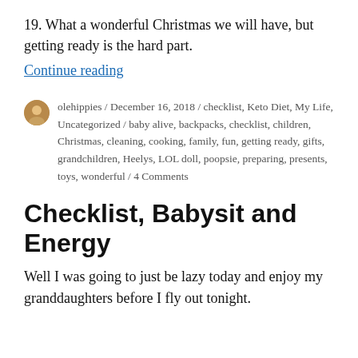19.  What a wonderful Christmas we will have, but getting ready is the hard part.
Continue reading
olehippies / December 16, 2018 / checklist, Keto Diet, My Life, Uncategorized / baby alive, backpacks, checklist, children, Christmas, cleaning, cooking, family, fun, getting ready, gifts, grandchildren, Heelys, LOL doll, poopsie, preparing, presents, toys, wonderful / 4 Comments
Checklist, Babysit and Energy
Well I was going to just be lazy today and enjoy my granddaughters before I fly out tonight.